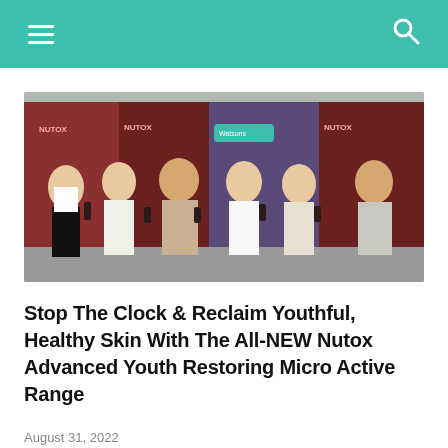Navigation bar with hamburger menu and search icon
[Figure (photo): Group photo of six people (three women and one man prominent in front, with two more people at sides) posing with Nutox skincare products in front of branded Nutox and Watsons banners at a product launch event.]
Stop The Clock & Reclaim Youthful, Healthy Skin With The All-NEW Nutox Advanced Youth Restoring Micro Active Range
August 31, 2022